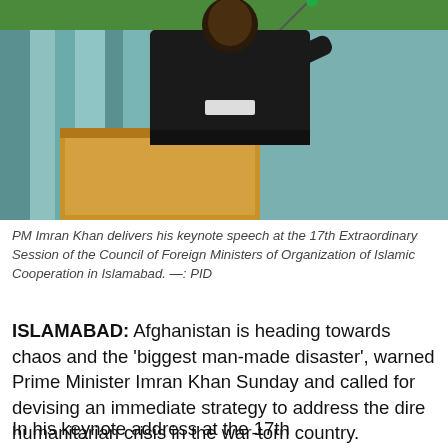[Figure (photo): PM Imran Khan standing at a podium with microphones, wearing a black outfit, speaking at a conference. Background shows curtains and teal/green elements.]
PM Imran Khan delivers his keynote speech at the 17th Extraordinary Session of the Council of Foreign Ministers of Organization of Islamic Cooperation in Islamabad. —: PID
ISLAMABAD: Afghanistan is heading towards chaos and the 'biggest man-made disaster', warned Prime Minister Imran Khan Sunday and called for devising an immediate strategy to address the dire humanitarian crisis in the war-torn country.
In his keynote address at the 17th Extraordinary Session of the Council of